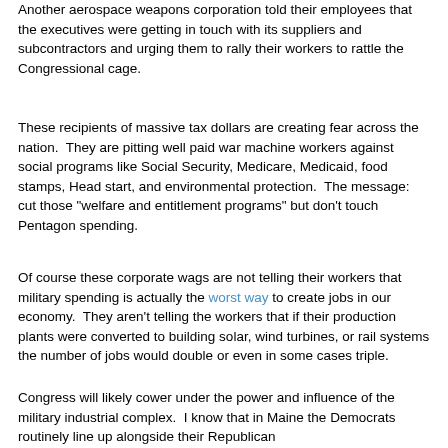Another aerospace weapons corporation told their employees that the executives were getting in touch with its suppliers and subcontractors and urging them to rally their workers to rattle the Congressional cage.
These recipients of massive tax dollars are creating fear across the nation.  They are pitting well paid war machine workers against social programs like Social Security, Medicare, Medicaid, food stamps, Head start, and environmental protection.  The message: cut those "welfare and entitlement programs" but don't touch Pentagon spending.
Of course these corporate wags are not telling their workers that military spending is actually the worst way to create jobs in our economy.  They aren't telling the workers that if their production plants were converted to building solar, wind turbines, or rail systems the number of jobs would double or even in some cases triple.
Congress will likely cower under the power and influence of the military industrial complex.  I know that in Maine the Democrats routinely line up alongside their Republican